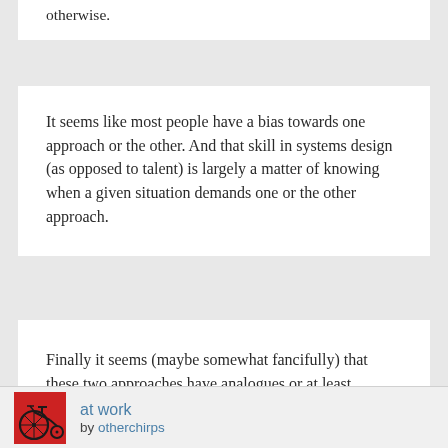otherwise.
It seems like most people have a bias towards one approach or the other. And that skill in systems design (as opposed to talent) is largely a matter of knowing when a given situation demands one or the other approach.
Finally it seems (maybe somewhat fancifully) that these two approaches have analogues or at least namesakes in the linguistic world. We might call the former synthetic and the latter analytic.
at work
by otherchirps